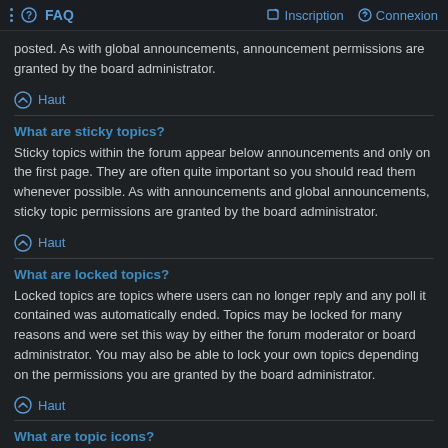FAQ | Inscription | Connexion
posted. As with global announcements, announcement permissions are granted by the board administrator.
Haut
What are sticky topics?
Sticky topics within the forum appear below announcements and only on the first page. They are often quite important so you should read them whenever possible. As with announcements and global announcements, sticky topic permissions are granted by the board administrator.
Haut
What are locked topics?
Locked topics are topics where users can no longer reply and any poll it contained was automatically ended. Topics may be locked for many reasons and were set this way by either the forum moderator or board administrator. You may also be able to lock your own topics depending on the permissions you are granted by the board administrator.
Haut
What are topic icons?
Topic icons are author chosen images associated with posts to indicate their content. The ability to use topic icons depends on the permissions set by the